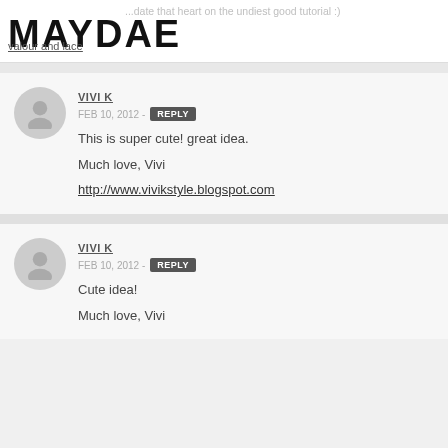MAYDAE
...date that heart on the undiest good tutorial :)
valour and lace
VIVI K
FEB 10, 2012 - REPLY
This is super cute! great idea.
Much love, Vivi
http://www.vivikstyle.blogspot.com
VIVI K
FEB 10, 2012 - REPLY
Cute idea!
Much love, Vivi